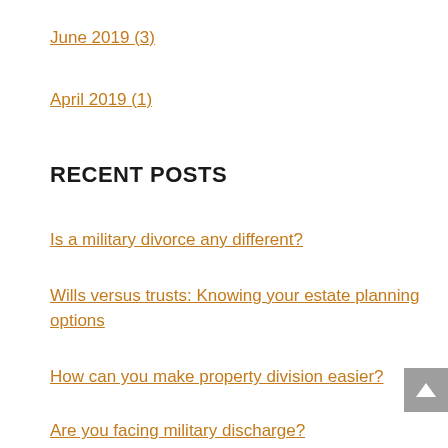June 2019 (3)
April 2019 (1)
RECENT POSTS
Is a military divorce any different?
Wills versus trusts: Knowing your estate planning options
How can you make property division easier?
Are you facing military discharge?
Celebrating your child's birthday after divorce